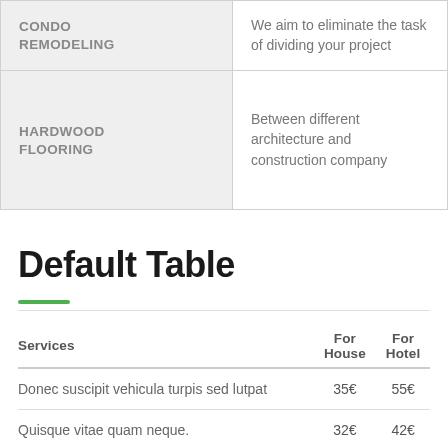|  |  |
| --- | --- |
| CONDO REMODELING | We aim to eliminate the task of dividing your project |
| HARDWOOD FLOORING | Between different architecture and construction company |
Default Table
| Services | For House | For Hotel |
| --- | --- | --- |
| Donec suscipit vehicula turpis sed lutpat | 35€ | 55€ |
| Quisque vitae quam neque. | 32€ | 42€ |